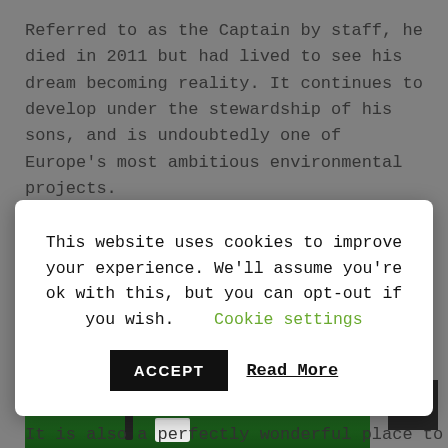Referred to as the Captain by staff, he died in 2011 but had lived to see his dream becoming reality. It continues to develop under the stewardship of his sons, and is undoubtedly one of Europe's most ambitious environmental projects.
[Figure (photo): A golf course showing a golfer and golf cart on a green fairway with sand bunkers visible in the background]
This website uses cookies to improve your experience. We'll assume you're ok with this, but you can opt-out if you wish.
Cookie settings
ACCEPT
Read More
It is also a perfectly wonderful place to